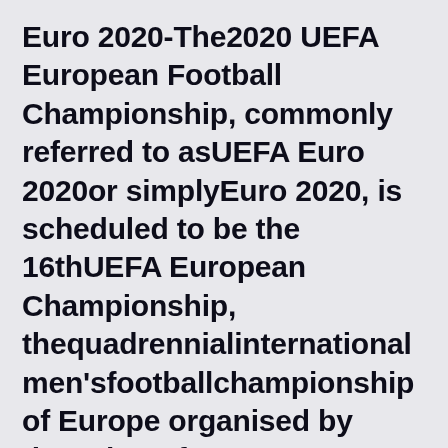Euro 2020-The2020 UEFA European Football Championship, commonly referred to asUEFA Euro 2020or simplyEuro 2020, is scheduled to be the 16thUEFA European Championship, thequadrennialinternational men'sfootballchampionship of Europe organised by theUnion of European Football Associations(UEFA). The tournament, to be held in 12 cities in 12 UEFA countries, was originally scheduled to take place